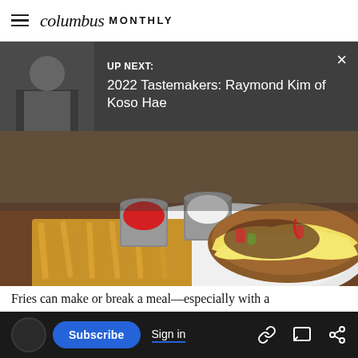columbus MONTHLY
UP NEXT: 2022 Tastemakers: Raymond Kim of Koso Hae
[Figure (photo): Food photo showing Philly cheesesteak with melted cheese, peppers, onions, and a side of french fries with ketchup and sour cream dipping sauces on a white plate]
The Philly cheesesteak at Cap City Fine Diner and Bar
BOB HARDIN/COLUMBUS PARENT
Fries can make or break a meal—especially with a